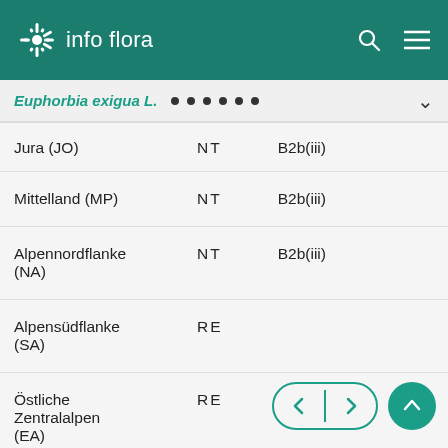info flora
Euphorbia exigua L.
| Region | Status | Criteria |
| --- | --- | --- |
| Jura (JO) | NT | B2b(iii) |
| Mittelland (MP) | NT | B2b(iii) |
| Alpennordflanke (NA) | NT | B2b(iii) |
| Alpensüdflanke (SA) | RE |  |
| Östliche Zentralalpen (EA) | RE |  |